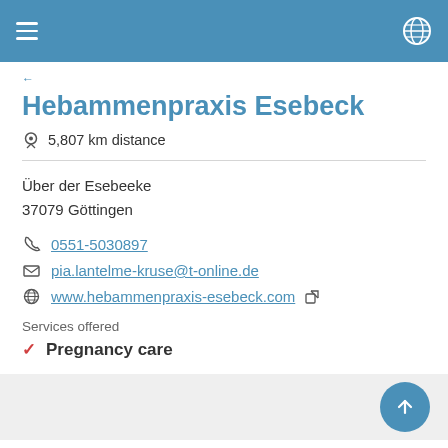Hebammenpraxis Esebeck
5,807 km distance
Über der Esebeeke
37079 Göttingen
0551-5030897
pia.lantelme-kruse@t-online.de
www.hebammenpraxis-esebeck.com
Services offered
Pregnancy care
Gynecological practice